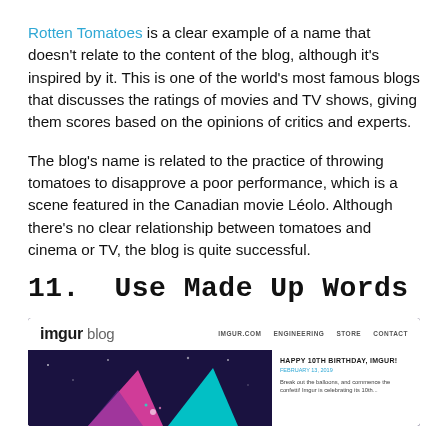Rotten Tomatoes is a clear example of a name that doesn't relate to the content of the blog, although it's inspired by it. This is one of the world's most famous blogs that discusses the ratings of movies and TV shows, giving them scores based on the opinions of critics and experts.
The blog's name is related to the practice of throwing tomatoes to disapprove a poor performance, which is a scene featured in the Canadian movie Léolo. Although there's no clear relationship between tomatoes and cinema or TV, the blog is quite successful.
11.  Use Made Up Words
[Figure (screenshot): Screenshot of the imgur blog website showing the top navigation bar with imgur blog logo and links (IMGUR.COM, ENGINEERING, STORE, CONTACT), and below a dark purple/navy content area with colorful geometric shapes on the left, and on the right a white sidebar showing 'HAPPY 10TH BIRTHDAY, IMGUR!' post.]